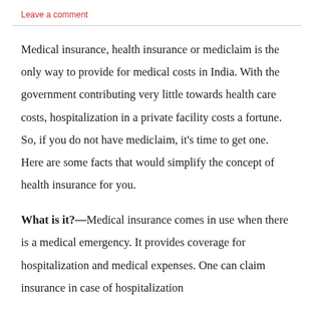Leave a comment
Medical insurance, health insurance or mediclaim is the only way to provide for medical costs in India. With the government contributing very little towards health care costs, hospitalization in a private facility costs a fortune. So, if you do not have mediclaim, it's time to get one. Here are some facts that would simplify the concept of health insurance for you.
What is it?—Medical insurance comes in use when there is a medical emergency. It provides coverage for hospitalization and medical expenses. One can claim insurance in case of hospitalization